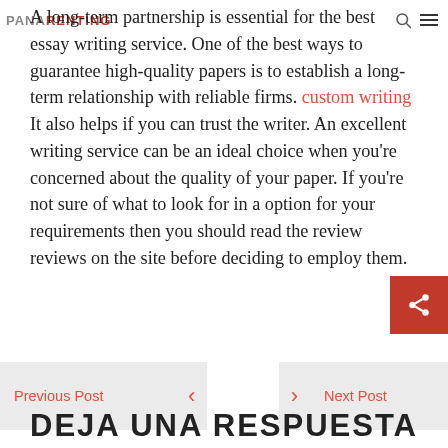PANARENTING
A long-term partnership is essential for the best essay writing service. One of the best ways to guarantee high-quality papers is to establish a long-term relationship with reliable firms. custom writing It also helps if you can trust the writer. An excellent writing service can be an ideal choice when you're concerned about the quality of your paper. If you're not sure of what to look for in a option for your requirements then you should read the review reviews on the site before deciding to employ them.
[Figure (other): Red share button with share icon]
Previous Post
Next Post
DEJA UNA RESPUESTA